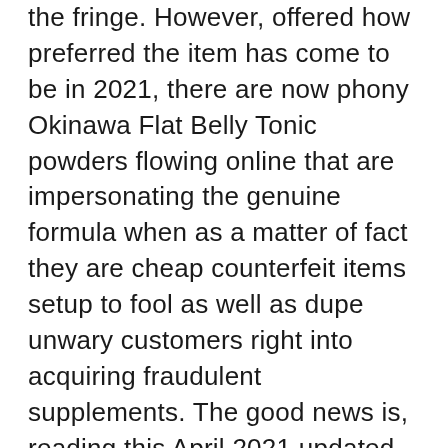the fringe. However, offered how preferred the item has come to be in 2021, there are now phony Okinawa Flat Belly Tonic powders flowing online that are impersonating the genuine formula when as a matter of fact they are cheap counterfeit items setup to fool as well as dupe unwary customers right into acquiring fraudulent supplements. The good news is, reading this April 2021 updated Okinawa Flat Belly Tonic testimonial will certainly assist all consumers relying on clients safely order directly from Mike Banner as well as the team straight responsible for this of a kind weight-loss drink dish. Not only will visiting the FlatBellyTonic.com ensure users are getting the genuine powder formula that is perfectly secure to take that is made as well as tested in an FDA approved